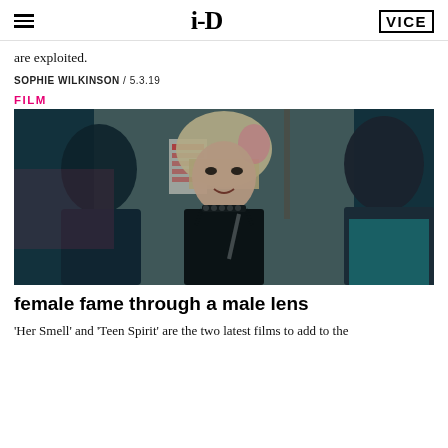i-D / VICE
are exploited.
SOPHIE WILKINSON / 5.3.19
FILM
[Figure (photo): Film still showing three people in a backstage corridor with teal/pink lighting. Center figure is a blonde woman with pink-streaked hair wearing a black dress and spiked choker necklace, looking intensely at someone off-screen. Left figure is a darker-haired person in a jacket. Right figure partially visible with dramatic makeup.]
female fame through a male lens
'Her Smell' and 'Teen Spirit' are the two latest films to add to the